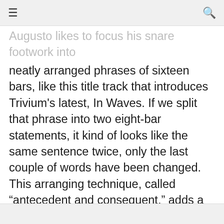≡  🔍
Augusto likes to focus his snare footwork into neatly arranged phrases of sixteen bars, like this title track that introduces Trivium's latest, In Waves. If we split that phrase into two eight-bar statements, it kind of looks like the same sentence twice, only the last couple of words have been changed. This arranging technique, called “antecedent and consequent,” adds a little bit of pop sensibility to a song, perhaps in the hopes of offering it as a single.